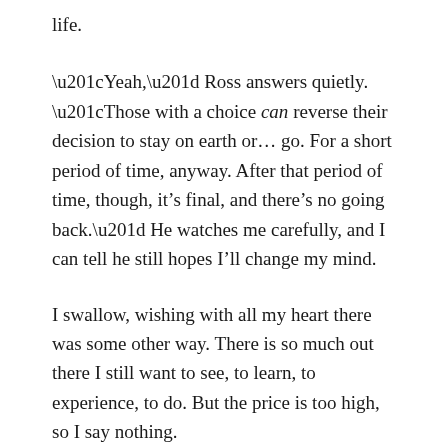life.
“Yeah,” Ross answers quietly. “Those with a choice can reverse their decision to stay on earth or… go. For a short period of time, anyway. After that period of time, though, it’s final, and there’s no going back.” He watches me carefully, and I can tell he still hopes I’ll change my mind.
I swallow, wishing with all my heart there was some other way. There is so much out there I still want to see, to learn, to experience, to do. But the price is too high, so I say nothing.
When Ross speaks, he sounds tired and disappointed. “You still want to call it quits, then?”